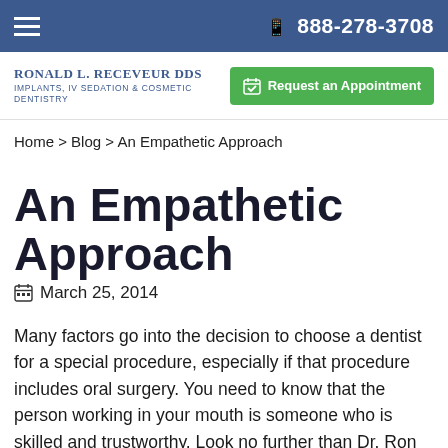☰  📱 888-278-3708
[Figure (logo): Ronald L. Receveur DDS logo with text: Implants, IV Sedation & Cosmetic Dentistry and a green Request an Appointment button]
Home > Blog > An Empathetic Approach
An Empathetic Approach
📅 March 25, 2014
Many factors go into the decision to choose a dentist for a special procedure, especially if that procedure includes oral surgery. You need to know that the person working in your mouth is someone who is skilled and trustworthy. Look no further than Dr. Ron